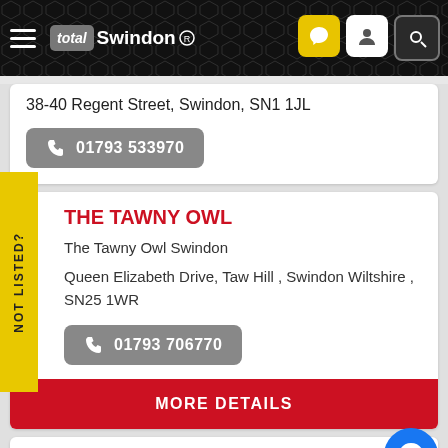total Swindon ®
38-40 Regent Street, Swindon, SN1 1JL
01793 533970
THE TAWNY OWL
The Tawny Owl Swindon
Queen Elizabeth Drive, Taw Hill , Swindon Wiltshire , SN25 1WR
01793 706770
MORE DETAILS
THE TROUT INN AT LECHLADE